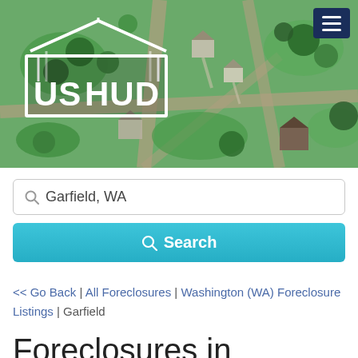[Figure (photo): Aerial photo of a residential neighborhood with green trees, houses, streets and driveways, taken from above. US HUD logo with house icon overlaid in upper left. Dark blue hamburger menu button in upper right corner.]
Garfield, WA
Search
<< Go Back | All Foreclosures | Washington (WA) Foreclosure Listings | Garfield
Foreclosures in Garfield
Foreclosure Listings in Garfield ...